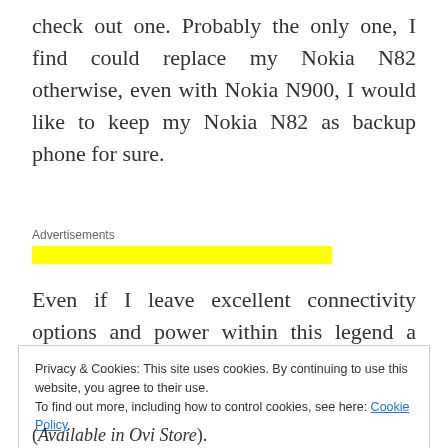check out one. Probably the only one, I find could replace my Nokia N82 otherwise, even with Nokia N900, I would like to keep my Nokia N82 as backup phone for sure.
Advertisements
Even if I leave excellent connectivity options and power within this legend a side, its camera alone
Privacy & Cookies: This site uses cookies. By continuing to use this website, you agree to their use.
To find out more, including how to control cookies, see here: Cookie Policy
Close and accept
(Available in Ovi Store).